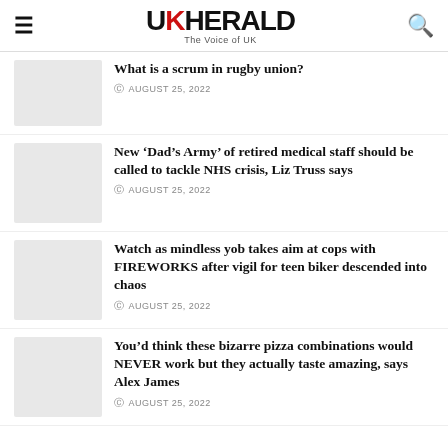UK HERALD — The Voice of UK
What is a scrum in rugby union?
AUGUST 25, 2022
New 'Dad's Army' of retired medical staff should be called to tackle NHS crisis, Liz Truss says
AUGUST 25, 2022
Watch as mindless yob takes aim at cops with FIREWORKS after vigil for teen biker descended into chaos
AUGUST 25, 2022
You'd think these bizarre pizza combinations would NEVER work but they actually taste amazing, says Alex James
AUGUST 25, 2022